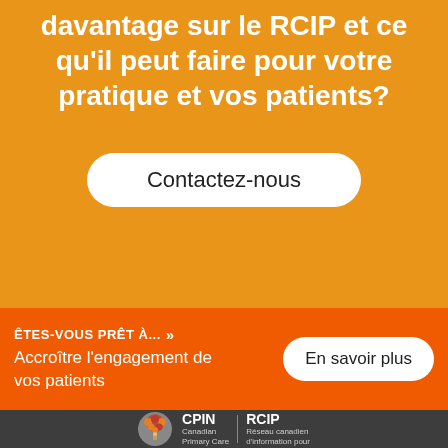davantage sur le RCIP et ce qu'il peut faire pour votre pratique et vos patients?
Contactez-nous
ÊTES-VOUS PRÊT À... »
Accroître l'engagement de vos patients
En savoir plus
[Figure (logo): CPIN / RCIP logo with tree icon — Canadian Primary Care / Réseau canadien d'information pour]
CPIN Canadian Primary Care | RCIP Réseau canadien d'information pour